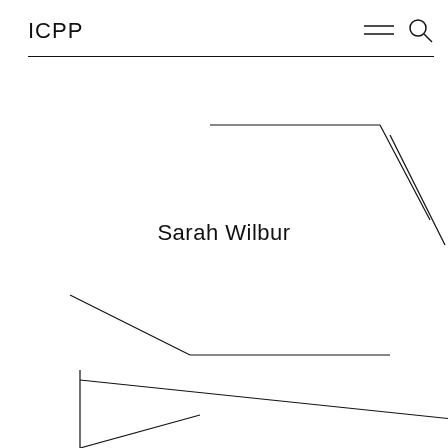ICPP
[Figure (illustration): Abstract geometric line drawing with angular shapes in the upper right area]
Sarah Wilbur
[Figure (illustration): Abstract geometric line drawing with angular shapes in the lower left area]
[Figure (illustration): Abstract geometric line drawing with angular shapes at the bottom left]